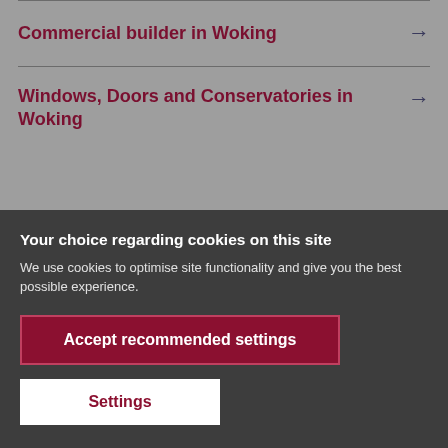Commercial builder in Woking →
Windows, Doors and Conservatories in Woking →
Your choice regarding cookies on this site
We use cookies to optimise site functionality and give you the best possible experience.
Accept recommended settings
Settings